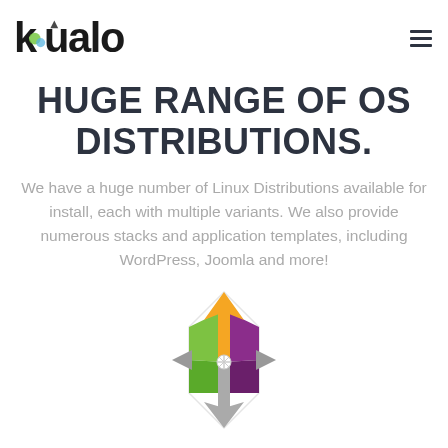kualo
HUGE RANGE OF OS DISTRIBUTIONS.
We have a huge number of Linux Distributions available for install, each with multiple variants. We also provide numerous stacks and application templates, including WordPress, Joomla and more!
[Figure (logo): Colorful geometric arrow/logo mark composed of green, purple, orange and grey diamond/arrow shapes arranged in a compass-like pattern]